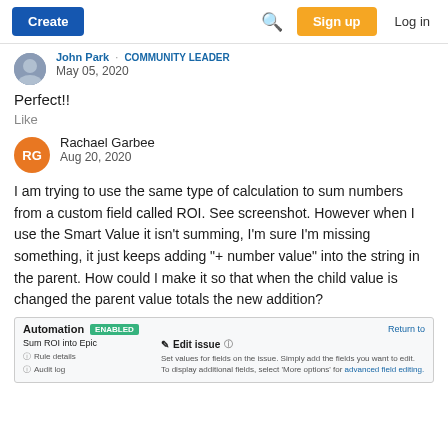Create | Search | Sign up | Log in
John Park · COMMUNITY LEADER
May 05, 2020
Perfect!!
Like
Rachael Garbee
Aug 20, 2020
I am trying to use the same type of calculation to sum numbers from a custom field called ROI. See screenshot. However when I use the Smart Value it isn't summing, I'm sure I'm missing something, it just keeps adding "+ number value" into the string in the parent. How could I make it so that when the child value is changed the parent value totals the new addition?
[Figure (screenshot): Screenshot of Atlassian Automation interface showing 'Sum ROI into Epic' rule with ENABLED badge, Edit issue action, and rule details/audit log options.]